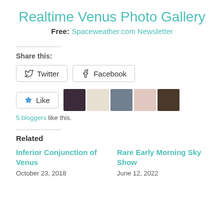Realtime Venus Photo Gallery
Free: Spaceweather.com Newsletter
Share this:
Twitter  Facebook
Like  5 bloggers like this.
Related
Inferior Conjunction of Venus
October 23, 2018
Rare Early Morning Sky Show
June 12, 2022